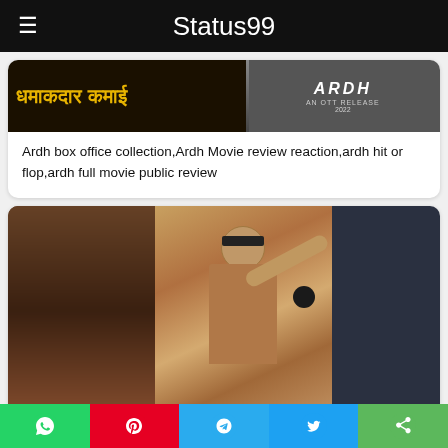Status99
[Figure (photo): Movie banner image for Ardh with Hindi text 'धमाकदार कमाई' and OTT release 2022 logo on right]
Ardh box office collection,Ardh Movie review reaction,ardh hit or flop,ardh full movie public review
[Figure (photo): Video thumbnail showing a person in a room scene]